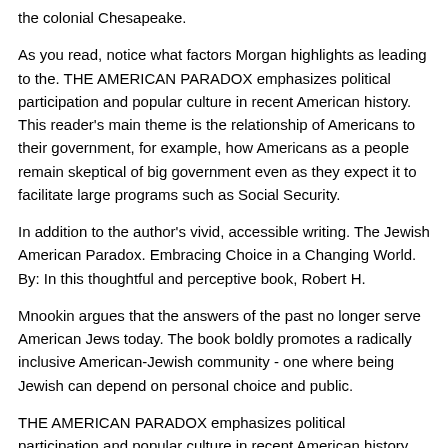the colonial Chesapeake.
As you read, notice what factors Morgan highlights as leading to the. THE AMERICAN PARADOX emphasizes political participation and popular culture in recent American history. This reader's main theme is the relationship of Americans to their government, for example, how Americans as a people remain skeptical of big government even as they expect it to facilitate large programs such as Social Security.
In addition to the author's vivid, accessible writing. The Jewish American Paradox. Embracing Choice in a Changing World. By: In this thoughtful and perceptive book, Robert H.
Mnookin argues that the answers of the past no longer serve American Jews today. The book boldly promotes a radically inclusive American-Jewish community - one where being Jewish can depend on personal choice and public.
THE AMERICAN PARADOX emphasizes political participation and popular culture in recent American history. This reader's main theme is the relationship of Americans to their government, for example, how